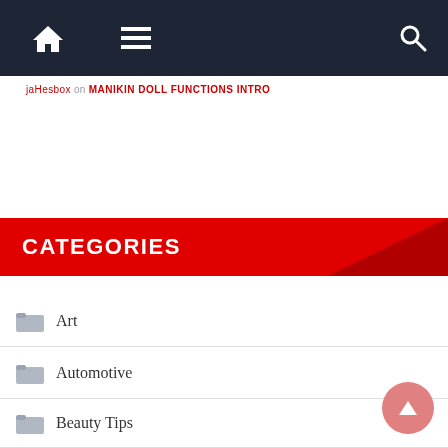Navigation bar with home icon, menu icon, and search icon
jaHesbox on MANIKIN DOLL FUNCTIONS INTRO
CATEGORIES
Art
Automotive
Beauty Tips
Books
Business
Celebrity
Computer